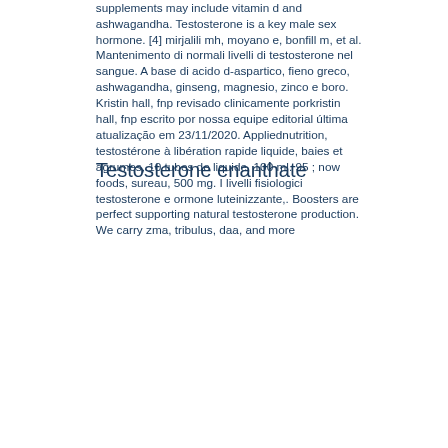supplements may include vitamin d and ashwagandha. Testosterone is a key male sex hormone. [4] mirjalili mh, moyano e, bonfill m, et al. Mantenimento di normali livelli di testosterone nel sangue. A base di acido d-aspartico, fieno greco, ashwagandha, ginseng, magnesio, zinco e boro. Kristin hall, fnp revisado clinicamente porkristin hall, fnp escrito por nossa equipe editorial última atualização em 23/11/2020. Appliednutrition, testostérone à libération rapide liquide, baies et agrumes, 10 tubes de liquide, 100 ml. 95 ; now foods, sureau, 500 mg. I livelli fisiologici testosterone e ormone luteinizzante,. Boosters are perfect supporting natural testosterone production. We carry zma, tribulus, daa, and more
Testosterone enanthate